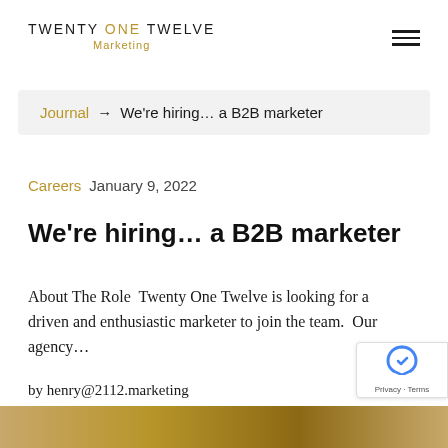TWENTY ONE TWELVE Marketing
Journal → We're hiring… a B2B marketer
Careers  January 9, 2022
We're hiring… a B2B marketer
About The Role  Twenty One Twelve is looking for a driven and enthusiastic marketer to join the team.  Our agency…
by henry@2112.marketing
[Figure (photo): Decorative image strip at the bottom of the page with golden/amber tones]